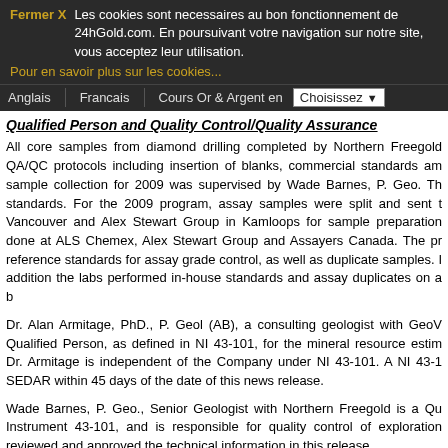Fermer X  Les cookies sont necessaires au bon fonctionnement de 24hGold.com. En poursuivant votre navigation sur notre site, vous acceptez leur utilisation. Pour en savoir plus sur les cookies...
Anglais  Francais  Cours Or & Argent en  Choisissez
Qualified Person and Quality Control/Quality Assurance
All core samples from diamond drilling completed by Northern Freegold QA/QC protocols including insertion of blanks, commercial standards and sample collection for 2009 was supervised by Wade Barnes, P. Geo. The standards. For the 2009 program, assay samples were split and sent to Vancouver and Alex Stewart Group in Kamloops for sample preparation done at ALS Chemex, Alex Stewart Group and Assayers Canada. The reference standards for assay grade control, as well as duplicate samples. In addition the labs performed in-house standards and assay duplicates on a b
Dr. Alan Armitage, PhD., P. Geol (AB), a consulting geologist with GeoVe Qualified Person, as defined in NI 43-101, for the mineral resource estim Dr. Armitage is independent of the Company under NI 43-101. A NI 43-1 SEDAR within 45 days of the date of this news release.
Wade Barnes, P. Geo., Senior Geologist with Northern Freegold is a Qu Instrument 43-101, and is responsible for quality control of exploration reviewed and approved the technical information in this release.
About the Freegold Mountain Project